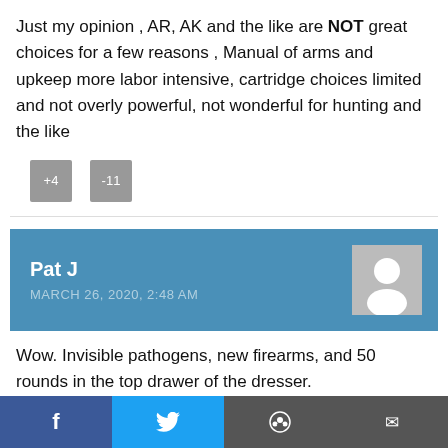Just my opinion , AR, AK and the like are NOT great choices for a few reasons , Manual of arms and upkeep more labor intensive, cartridge choices limited and not overly powerful, not wonderful for hunting and the like
Pat J
MARCH 26, 2020, 2:48 AM
Wow. Invisible pathogens, new firearms, and 50 rounds in the top drawer of the dresser. Scared gun-haters have asked me what they ... ire extinguisher for their